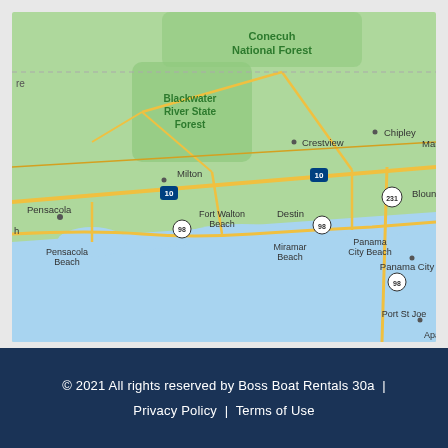[Figure (map): Google Maps view of the Florida Panhandle coastline showing Pensacola, Fort Walton Beach, Destin, Miramar Beach, Panama City Beach, Panama City, Port St Joe, Chipley, Marianna, Crestview, Blackwater River State Forest, Conecuh National Forest, and surrounding road networks including Interstate 10 and US-98.]
© 2021 All rights reserved by Boss Boat Rentals 30a | Privacy Policy | Terms of Use